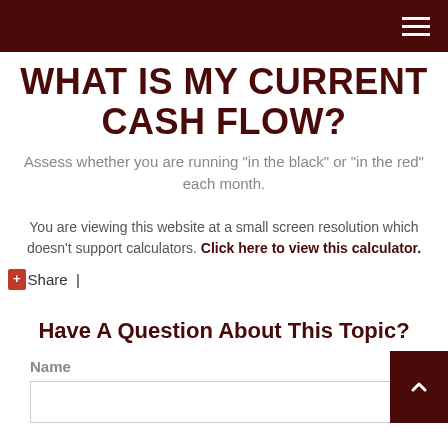(dark red header bar with hamburger menu icon)
WHAT IS MY CURRENT CASH FLOW?
Assess whether you are running “in the black” or “in the red” each month.
You are viewing this website at a small screen resolution which doesn’t support calculators. Click here to view this calculator.
+ Share |
Have A Question About This Topic?
Name